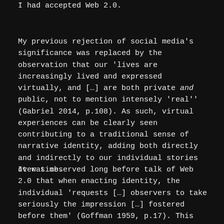I had accepted Web 2.0.
My previous rejection of social media's significance was replaced by the observation that our 'lives are increasingly lived and expressed virtually, and […] are both private and public, not to mention intensely 'real'' (Gabriel 2014, p.108). As such, virtual experiences can be clearly seen contributing to a traditional sense of narrative identity, adding both directly and indirectly to our individual stories over time.
It was observed long before talk of Web 2.0 that when enacting identity, the individual 'requests […] observers to take seriously the impression […] fostered before them' (Goffman 1959, p.17). This